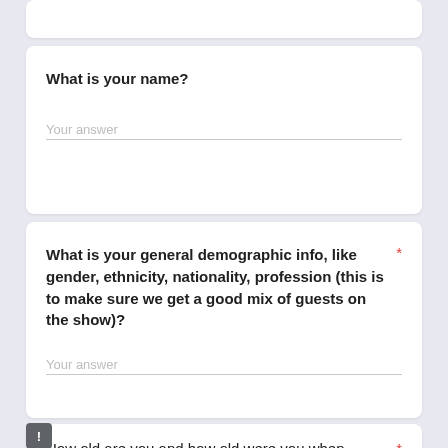What is your name?
Your answer
What is your general demographic info, like gender, ethnicity, nationality, profession (this is to make sure we get a good mix of guests on the show)?
Your answer
How old are you and how old were you when